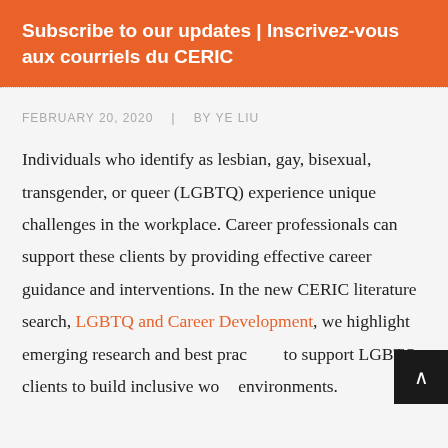Subscribe to our updates | Inscrivez-vous aux courriels du CERIC
FEBRUARY 20, 2020  |  BY YE LIU
Individuals who identify as lesbian, gay, bisexual, transgender, or queer (LGBTQ) experience unique challenges in the workplace. Career professionals can support these clients by providing effective career guidance and interventions. In the new CERIC literature search, LGBTQ and Career Development, we highlight emerging research and best practices to support LGBTQ clients to build inclusive work environments.